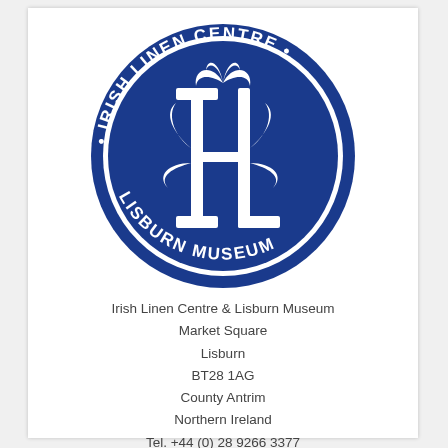[Figure (logo): Circular blue logo for Irish Linen Centre & Lisburn Museum. Blue circle with white text reading 'IRISH LINEN CENTRE' along the top arc and 'LISBURN MUSEUM' along the bottom arc, with two bullet points on either side. Center features ornate interlocked letters 'IL' in white on blue background with decorative floral/Celtic design.]
Irish Linen Centre & Lisburn Museum
Market Square
Lisburn
BT28 1AG
County Antrim
Northern Ireland
Tel. +44 (0) 28 9266 3377